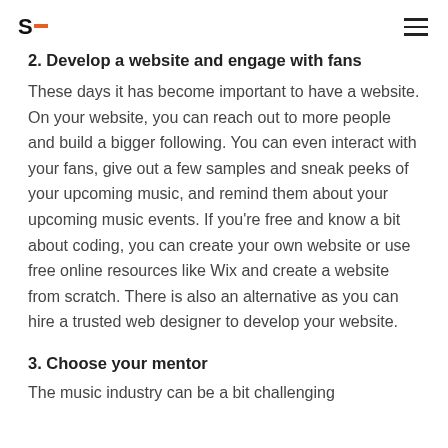S_ [logo] [hamburger menu]
2. Develop a website and engage with fans
These days it has become important to have a website. On your website, you can reach out to more people and build a bigger following. You can even interact with your fans, give out a few samples and sneak peeks of your upcoming music, and remind them about your upcoming music events. If you're free and know a bit about coding, you can create your own website or use free online resources like Wix and create a website from scratch. There is also an alternative as you can hire a trusted web designer to develop your website.
3. Choose your mentor
The music industry can be a bit challenging